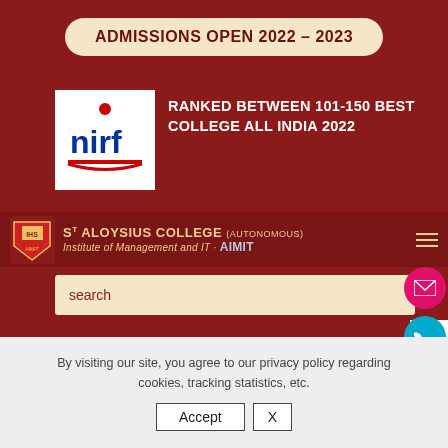ADMISSIONS OPEN 2022 – 2023
[Figure (logo): NIRF logo — blue text 'nirf' with red dot above 'i' and red underline book graphic on white background]
RANKED BETWEEN 101-150 BEST COLLEGE ALL INDIA 2022
[Figure (logo): St Aloysius College crest/emblem in red and gold on dark red background]
ST ALOYSIUS COLLEGE (AUTONOMOUS) Institute of Management and IT - AIMIT
search
By visiting our site, you agree to our privacy policy regarding cookies, tracking statistics, etc.
Accept  X